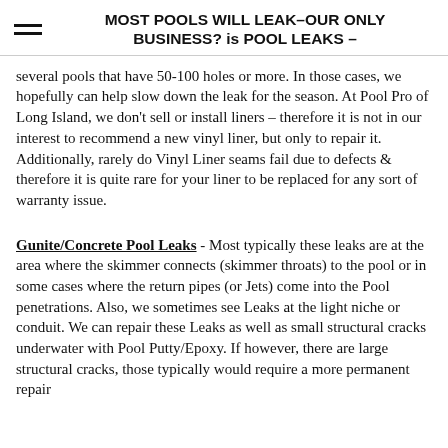MOST POOLS WILL LEAK–OUR ONLY BUSINESS? is POOL LEAKS –
several pools that have 50-100 holes or more. In those cases, we hopefully can help slow down the leak for the season. At Pool Pro of Long Island, we don't sell or install liners – therefore it is not in our interest to recommend a new vinyl liner, but only to repair it. Additionally, rarely do Vinyl Liner seams fail due to defects & therefore it is quite rare for your liner to be replaced for any sort of warranty issue.
Gunite/Concrete Pool Leaks - Most typically these leaks are at the area where the skimmer connects (skimmer throats) to the pool or in some cases where the return pipes (or Jets) come into the Pool penetrations. Also, we sometimes see Leaks at the light niche or conduit. We can repair these Leaks as well as small structural cracks underwater with Pool Putty/Epoxy. If however, there are large structural cracks, those typically would require a more permanent repair